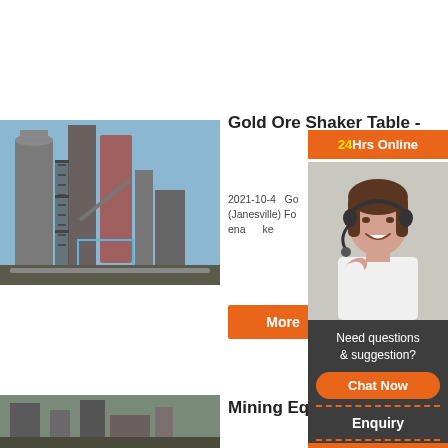[Figure (photo): Industrial cement plant or mining facility with large silos, pipes, and metal scaffolding structures against a blue sky]
Gold Ore Shaker Table -
2021-10-4  Go... able (Janesville) Fo... fo... taken off to ena... ke...
More
[Figure (photo): Customer service representative, a young woman with headset smiling, with 24Hrs Online overlay]
Need questions & suggestion?
Chat Now
Enquiry
limingjlmofen
[Figure (photo): Mining equipment photo, partially visible at bottom left]
Mining Eq... sa...